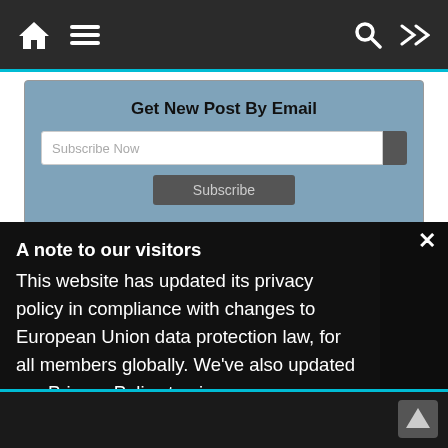Navigation bar with home, menu, search, and shuffle icons
Get New Post By Email
A note to our visitors
This website has updated its privacy policy in compliance with changes to European Union data protection law, for all members globally. We've also updated our Privacy Policy to give you more information about your rights and responsibilities with respect to your privacy and personal information. Please read this to review the updates about which cookies we use and what information we collect on our site. By continuing to use this site, you are agreeing to our updated privacy policy.